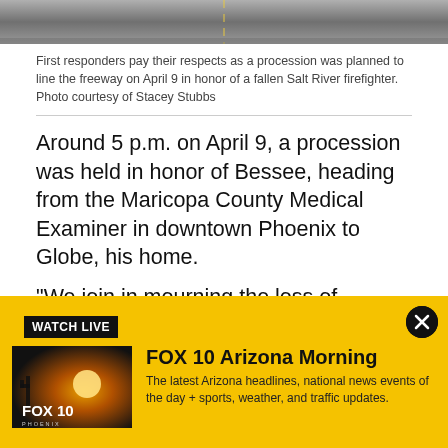[Figure (photo): Aerial or road-level photo of freeway with procession, cars visible]
First responders pay their respects as a procession was planned to line the freeway on April 9 in honor of a fallen Salt River firefighter. Photo courtesy of Stacey Stubbs
Around 5 p.m. on April 9, a procession was held in honor of Bessee, heading from the Maricopa County Medical Examiner in downtown Phoenix to Globe, his home.
"We join in mourning the loss of Firefighter/EMT Brendan Bessee. Brendan also served the Globe/Miami
[Figure (screenshot): FOX 10 Watch Live banner — yellow background with FOX 10 Arizona Morning show promo, thumbnail of FOX 10 Phoenix sunrise logo, close button]